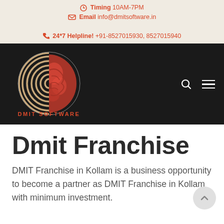Timing 10AM-7PM | Email info@dmitsoftware.in | 24*7 Helpline! +91-8527015930, 8527015940
[Figure (logo): DMIT Software logo: fingerprint/brain hybrid icon in tan and red on black background, with text DMIT SOFTWARE in red below]
Dmit Franchise
DMIT Franchise in Kollam is a business opportunity to become a partner as DMIT Franchise in Kollam with minimum investment.